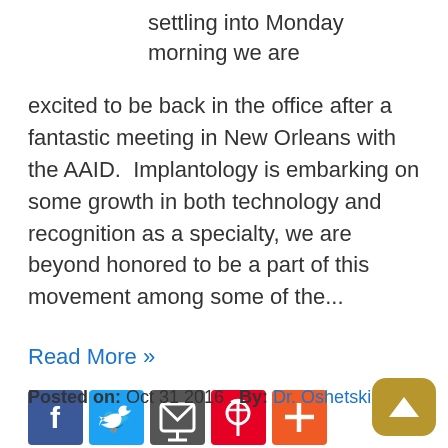settling into Monday morning we are excited to be back in the office after a fantastic meeting in New Orleans with the AAID.  Implantology is embarking on some growth in both technology and recognition as a specialty, we are beyond honored to be a part of this movement among some of the...
Read More »
[Figure (other): Social media share buttons: Facebook (blue), Twitter (light blue), share/message icon (dark grey), Pinterest (red), plus/add button (orange-red)]
Posted on: Oct 31 2016   By: Dr. Oshetski